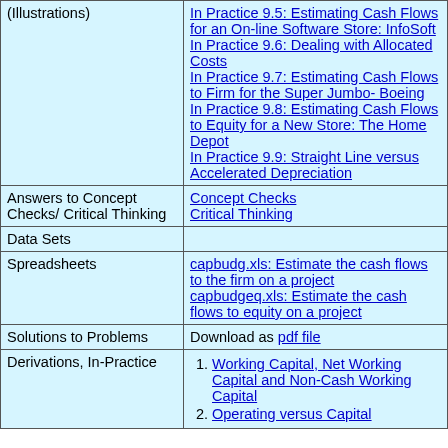| (Category) | (Links) |
| --- | --- |
| (Illustrations) | In Practice 9.5: Estimating Cash Flows for an On-line Software Store: InfoSoft
In Practice 9.6: Dealing with Allocated Costs
In Practice 9.7: Estimating Cash Flows to Firm for the Super Jumbo- Boeing
In Practice 9.8: Estimating Cash Flows to Equity for a New Store: The Home Depot
In Practice 9.9: Straight Line versus Accelerated Depreciation |
| Answers to Concept Checks/ Critical Thinking | Concept Checks
Critical Thinking |
| Data Sets |  |
| Spreadsheets | capbudg.xls: Estimate the cash flows to the firm on a project
capbudgeq.xls: Estimate the cash flows to equity on a project |
| Solutions to Problems | Download as pdf file |
| Derivations, In-Practice | 1. Working Capital, Net Working Capital and Non-Cash Working Capital
2. Operating versus Capital |